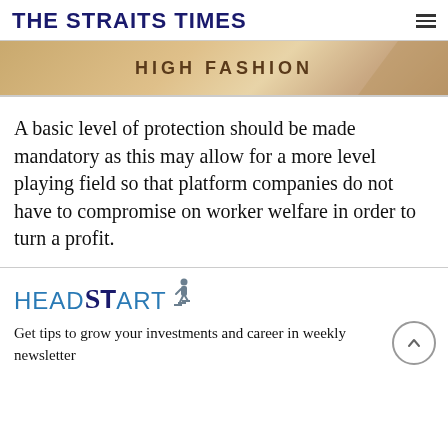THE STRAITS TIMES
[Figure (other): Advertisement banner with tan/gold background showing text HIGH FASHION]
A basic level of protection should be made mandatory as this may allow for a more level playing field so that platform companies do not have to compromise on worker welfare in order to turn a profit.
[Figure (logo): HEADSTART logo with figure climbing stairs icon]
Get tips to grow your investments and career in weekly newsletter